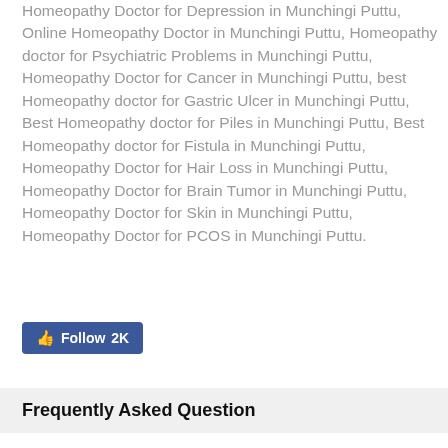Homeopathy Doctor for Depression in Munchingi Puttu, Online Homeopathy Doctor in Munchingi Puttu, Homeopathy doctor for Psychiatric Problems in Munchingi Puttu, Homeopathy Doctor for Cancer in Munchingi Puttu, best Homeopathy doctor for Gastric Ulcer in Munchingi Puttu, Best Homeopathy doctor for Piles in Munchingi Puttu, Best Homeopathy doctor for Fistula in Munchingi Puttu, Homeopathy Doctor for Hair Loss in Munchingi Puttu, Homeopathy Doctor for Brain Tumor in Munchingi Puttu, Homeopathy Doctor for Skin in Munchingi Puttu, Homeopathy Doctor for PCOS in Munchingi Puttu.
[Figure (other): Facebook Follow button showing thumbs up icon and '2K' follower count]
Frequently Asked Question